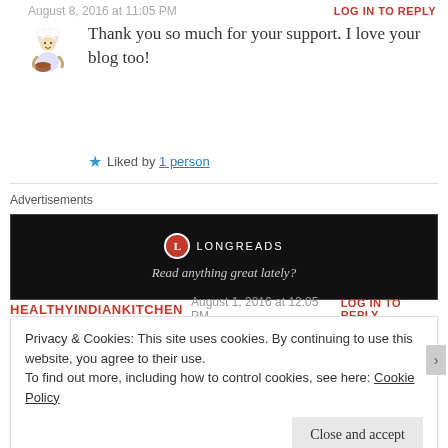August 8, 2016 at 11:05 PM
LOG IN TO REPLY
Thank you so much for your support. I love your blog too!
Liked by 1 person
Advertisements
[Figure (other): Longreads advertisement: circular red L logo, white text 'LONGREADS', text 'Read anything great lately?' on black background]
HEALTHYINDIANKITCHEN  August 1, 2016 at 12:05 PM  LOG IN TO REPLY
Privacy & Cookies: This site uses cookies. By continuing to use this website, you agree to their use.
To find out more, including how to control cookies, see here: Cookie Policy
Close and accept